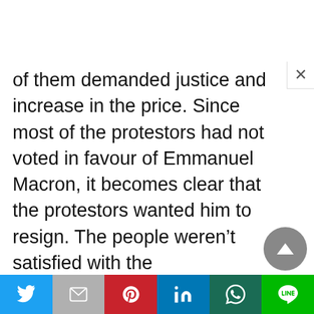of them demanded justice and increase in the price. Since most of the protestors had not voted in favour of Emmanuel Macron, it becomes clear that the protestors wanted him to resign. The people weren't satisfied with the governmental measures and demanded an improvement in them.  The austerity measures were becoming too hard to deal with and the people demanded an end to it. These protestors further demanded new constitutional and legislative initiatives.